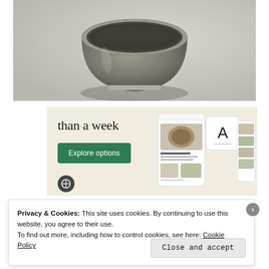[Figure (photo): Close-up photo of a glass or ceramic cup/mug from above, on a light grey surface with soft shadows. The cup appears to contain a dark liquid or powder (possibly matcha or coffee). Light grey-beige background.]
[Figure (screenshot): Advertisement banner with cream/beige background. Text reads 'than a week' in serif font. A green 'Explore options' button is shown below the text. On the right side, smartphone UI mockup screenshots showing a food/recipe app with food photography and a logo with letter A.]
Privacy & Cookies: This site uses cookies. By continuing to use this website, you agree to their use.
To find out more, including how to control cookies, see here: Cookie Policy
Close and accept